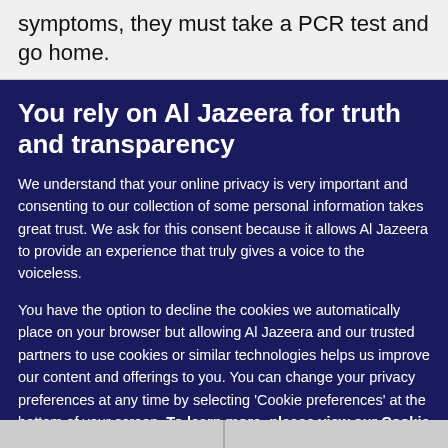symptoms, they must take a PCR test and go home.
You rely on Al Jazeera for truth and transparency
We understand that your online privacy is very important and consenting to our collection of some personal information takes great trust. We ask for this consent because it allows Al Jazeera to provide an experience that truly gives a voice to the voiceless.
You have the option to decline the cookies we automatically place on your browser but allowing Al Jazeera and our trusted partners to use cookies or similar technologies helps us improve our content and offerings to you. You can change your privacy preferences at any time by selecting 'Cookie preferences' at the bottom of your screen. To learn more, please view our Cookie Policy.